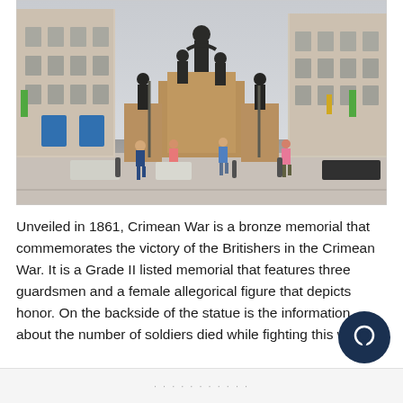[Figure (photo): Outdoor photograph of the Crimean War Memorial in London. Multiple bronze statues on stone pedestals are visible in the center of a city street, with large classical buildings on either side, pedestrians walking around the monument, cars parked on the left, and an overcast sky.]
Unveiled in 1861, Crimean War is a bronze memorial that commemorates the victory of the Britishers in the Crimean War. It is a Grade II listed memorial that features three guardsmen and a female allegorical figure that depicts honor. On the backside of the statue is the information about the number of soldiers died while fighting this war.